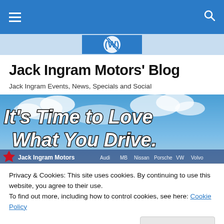Navigation bar with hamburger menu and search icon
[Figure (logo): Jack Ingram Motors logo strip with VW-style circular logo and blue background]
Jack Ingram Motors' Blog
Jack Ingram Events, News, Specials and Social
[Figure (illustration): Promotional banner with blue sky background, text 'It's Time to Love What You Drive.' and Jack Ingram Motors branding with car manufacturer logos]
Privacy & Cookies: This site uses cookies. By continuing to use this website, you agree to their use.
To find out more, including how to control cookies, see here: Cookie Policy
Close and accept
Owner Appreciation Clinic in